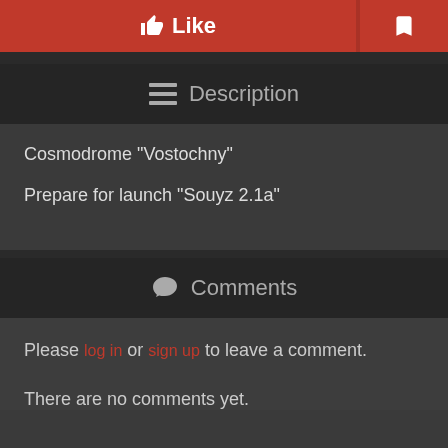Like  [bookmark]
Description
Cosmodrome "Vostochny"
Prepare for launch "Souyz 2.1a"
Comments
Please log in or sign up to leave a comment.
There are no comments yet.